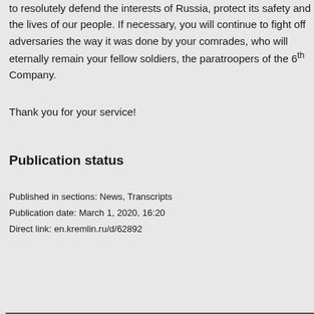Our people are proud of you and believe that you will continue to resolutely defend the interests of Russia, protect its safety and the lives of our people. If necessary, you will continue to fight off adversaries the way it was done by your comrades, who will eternally remain your fellow soldiers, the paratroopers of the 6th Company.
Thank you for your service!
Publication status
Published in sections: News, Transcripts
Publication date: March 1, 2020, 16:20
Direct link: en.kremlin.ru/d/62892